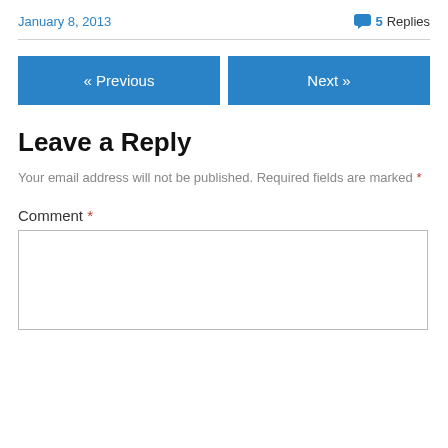January 8, 2013
💬 5 Replies
« Previous
Next »
Leave a Reply
Your email address will not be published. Required fields are marked *
Comment *